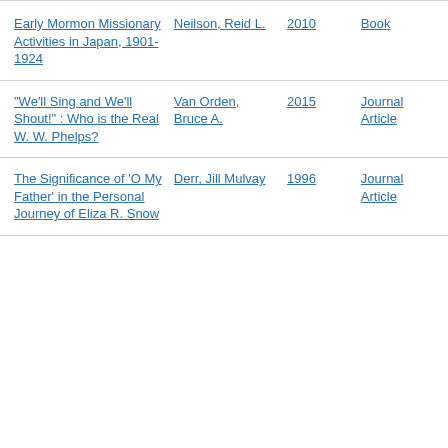| Title | Author | Year | Type |
| --- | --- | --- | --- |
| Early Mormon Missionary Activities in Japan, 1901-1924 | Neilson, Reid L. | 2010 | Book |
| "We'll Sing and We'll Shout!" : Who is the Real W. W. Phelps? | Van Orden, Bruce A. | 2015 | Journal Article |
| The Significance of 'O My Father' in the Personal Journey of Eliza R. Snow | Derr, Jill Mulvay | 1996 | Journal Article |